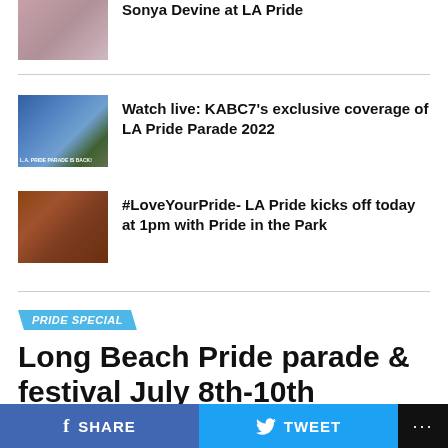[Figure (photo): Partial photo of two people, cropped at top]
Sonya Devine at LA Pride
[Figure (photo): LA Pride Parade thumbnail with text overlay 'L.A. PRIDE PARADE IS BACK']
Watch live: KABC7’s exclusive coverage of LA Pride Parade 2022
[Figure (photo): Brown background image with person and rainbow stripe elements]
#LoveYourPride- LA Pride kicks off today at 1pm with Pride in the Park
PRIDE SPECIAL
Long Beach Pride parade & festival July 8th-10th
SHARE   TWEET   ...